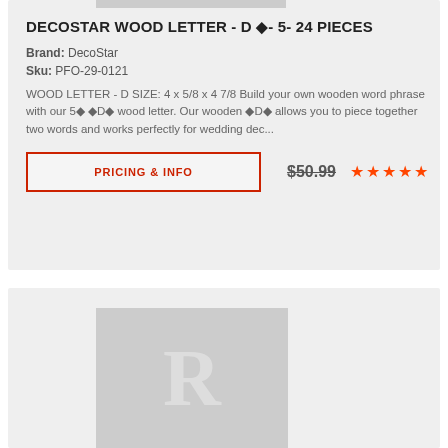DECOSTAR WOOD LETTER - D ◆- 5- 24 PIECES
Brand: DecoStar
Sku: PFO-29-0121
WOOD LETTER - D SIZE: 4 x 5/8 x 4 7/8 Build your own wooden word phrase with our 5◆ ◆D◆ wood letter. Our wooden ◆D◆ allows you to piece together two words and works perfectly for wedding dec...
PRICING & INFO
$50.99
[Figure (photo): Gray placeholder image with letter R shown in lighter gray]
[Figure (photo): Gray placeholder image at top of card]